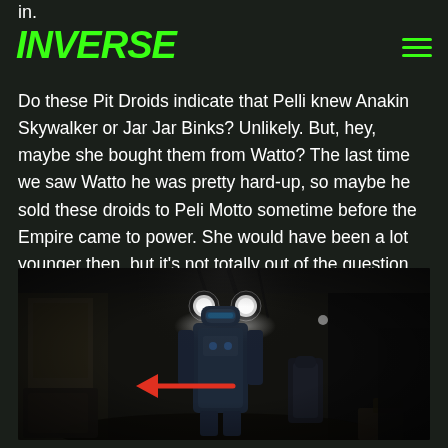in.
INVERSE
Do these Pit Droids indicate that Pelli knew Anakin Skywalker or Jar Jar Binks? Unlikely. But, hey, maybe she bought them from Watto? The last time we saw Watto he was pretty hard-up, so maybe he sold these droids to Peli Motto sometime before the Empire came to power. She would have been a lot younger then, but it's not totally out of the question.
[Figure (screenshot): Dark hangar scene from The Mandalorian showing a droid figure in a dimly lit bay with two round lights visible overhead and a red arrow pointing left toward a small droid]